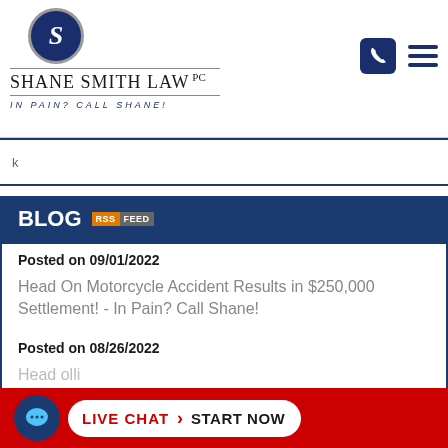[Figure (logo): Shane Smith Law PC logo with circular emblem and tagline IN PAIN? CALL SHANE!]
BLOG RSS FEED
Posted on 09/01/2022
Head On Motorcycle Accident Results in $250,000 Settlement! - In Pain? Call Shane!
Posted on 08/26/2022
Hea...olli...
[Figure (infographic): Live Chat - Start Now bar at bottom with chat bubble icon]